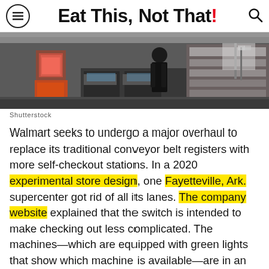Eat This, Not That!
[Figure (photo): Interior of a Walmart store showing self-checkout area with a person in dark clothing standing near checkout machines and shelves in background]
Shutterstock
Walmart seeks to undergo a major overhaul to replace its traditional conveyor belt registers with more self-checkout stations. In a 2020 experimental store design, one Fayetteville, Ark. supercenter got rid of all its lanes. The company website explained that the switch is intended to make checking out less complicated. The machines—which are equipped with green lights that show which machine is available—are in an effort to speed up the checkout process, and the